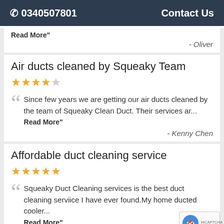☎ 0340507801   Contact Us
Read More"
- Oliver
Air ducts cleaned by Squeaky Team
★★★★☆
Since few years we are getting our air ducts cleaned by the team of Squeaky Clean Duct. Their services ar...
Read More"
- Kenny Chen
Affordable duct cleaning service
★★★★★
Squeaky Duct Cleaning services is the best duct cleaning serviice I have ever found.My home ducted cooler...
Read More"
- affie